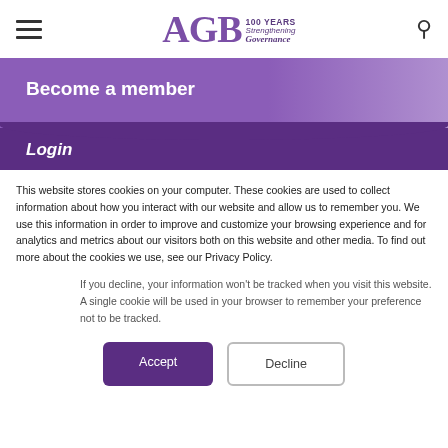AGB 100 YEARS Strengthening Governance
Become a member
Login
This website stores cookies on your computer. These cookies are used to collect information about how you interact with our website and allow us to remember you. We use this information in order to improve and customize your browsing experience and for analytics and metrics about our visitors both on this website and other media. To find out more about the cookies we use, see our Privacy Policy.
If you decline, your information won't be tracked when you visit this website. A single cookie will be used in your browser to remember your preference not to be tracked.
Accept  Decline